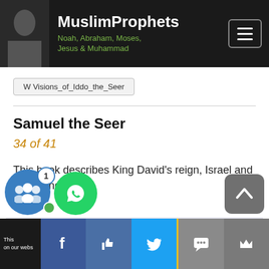MuslimProphets — Noah, Abraham, Moses, Jesus & Muhammad
W Visions_of_Iddo_the_Seer
Samuel the Seer
34 of 41
This book describes King David's reign, Israel and other kingdoms.
Now the acts of David the king, first and last, behold, they are written in the book of Samuel the seer, and in the book of Nathan the prophet, and the book of Gad the seer.
Share bar with social media icons